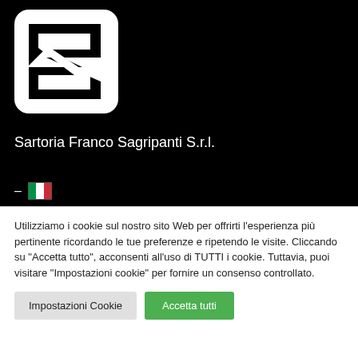[Figure (logo): Sartoria Franco Sagripanti S.r.l. logo — black and white square logo with stylized S shape on white rounded rectangle, on black background]
Sartoria Franco Sagripanti S.r.l.
Utilizziamo i cookie sul nostro sito Web per offrirti l'esperienza più pertinente ricordando le tue preferenze e ripetendo le visite. Cliccando su "Accetta tutto", acconsenti all'uso di TUTTI i cookie. Tuttavia, puoi visitare "Impostazioni cookie" per fornire un consenso controllato.
Impostazioni Cookie
Accetta tutti